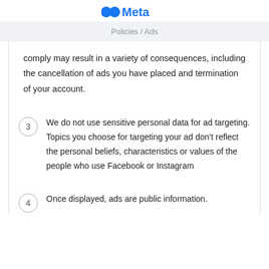Meta
Policies / Ads
comply may result in a variety of consequences, including the cancellation of ads you have placed and termination of your account.
3  We do not use sensitive personal data for ad targeting. Topics you choose for targeting your ad don't reflect the personal beliefs, characteristics or values of the people who use Facebook or Instagram
4  Once displayed, ads are public information.